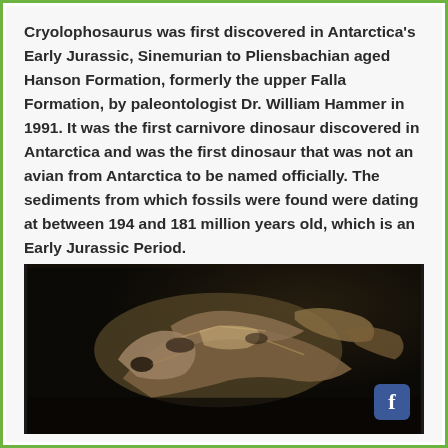Cryolophosaurus was first discovered in Antarctica's Early Jurassic, Sinemurian to Pliensbachian aged Hanson Formation, formerly the upper Falla Formation, by paleontologist Dr. William Hammer in 1991. It was the first carnivore dinosaur discovered in Antarctica and was the first dinosaur that was not an avian from Antarctica to be named officially. The sediments from which fossils were found were dating at between 194 and 181 million years old, which is an Early Jurassic Period.
[Figure (photo): Photograph of Cryolophosaurus fossil bones displayed against a dark background, showing skeletal remains including skull and other bone fragments]